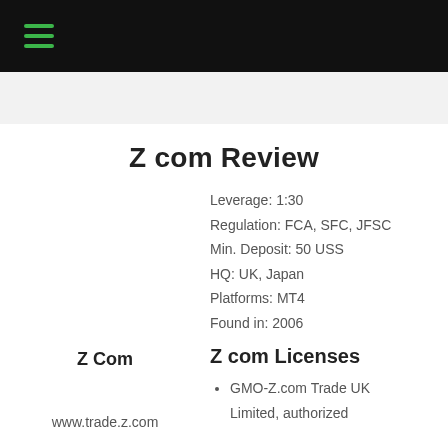Z com Review
Leverage: 1:30
Regulation: FCA, SFC, JFSC
Min. Deposit: 50 USS
HQ: UK, Japan
Platforms: MT4
Found in: 2006
Z Com
Z com Licenses
GMO-Z.com Trade UK Limited, authorized
www.trade.z.com